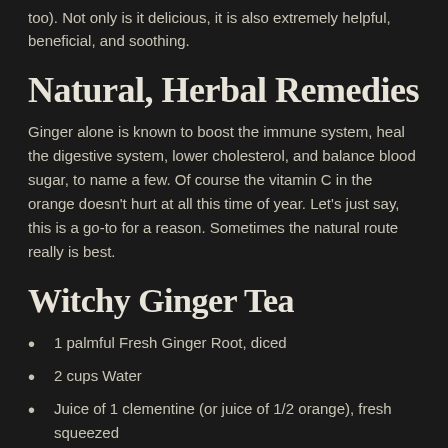too). Not only is it delicious, it is also extremely helpful, beneficial, and soothing.
Natural, Herbal Remedies
Ginger alone is known to boost the immune system, heal the digestive system, lower cholesterol, and balance blood sugar, to name a few. Of course the vitamin C in the orange doesn't hurt at all this time of year. Let's just say, this is a go-to for a reason. Sometimes the natural route really is best.
Witchy Ginger Tea
1 palmful Fresh Ginger Root, diced
2 cups Water
Juice of 1 clementine (or juice of 1/2 orange), fresh squeezed
Juice of 1 lemon, fresh squeezed